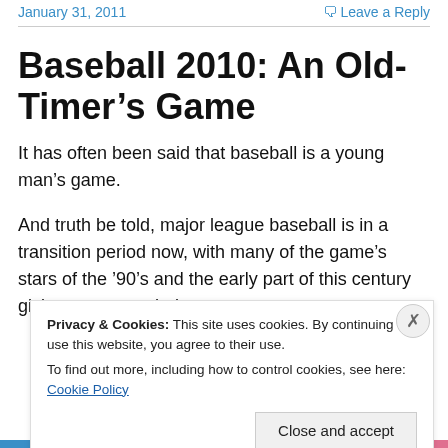January 31, 2011    Leave a Reply
Baseball 2010: An Old-Timer's Game
It has often been said that baseball is a young man's game.
And truth be told, major league baseball is in a transition period now, with many of the game's stars of the '90's and the early part of this century giving way to a whole new
Privacy & Cookies: This site uses cookies. By continuing to use this website, you agree to their use.
To find out more, including how to control cookies, see here: Cookie Policy
Close and accept